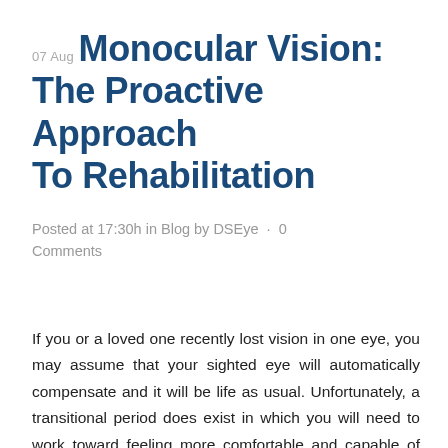07 Aug Monocular Vision: The Proactive Approach To Rehabilitation
Posted at 17:30h in Blog by DSEye · 0 Comments
If you or a loved one recently lost vision in one eye, you may assume that your sighted eye will automatically compensate and it will be life as usual. Unfortunately, a transitional period does exist in which you will need to work toward feeling more comfortable and capable of managing all daily activities while relying solely on your monocular